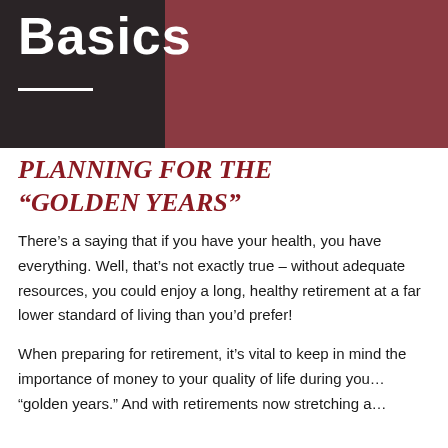Basics
PLANNING FOR THE “GOLDEN YEARS”
There’s a saying that if you have your health, you have everything. Well, that’s not exactly true – without adequate resources, you could enjoy a long, healthy retirement at a far lower standard of living than you’d prefer!
When preparing for retirement, it’s vital to keep in mind the importance of money to your quality of life during your “golden years.” And with retirements now stretching a